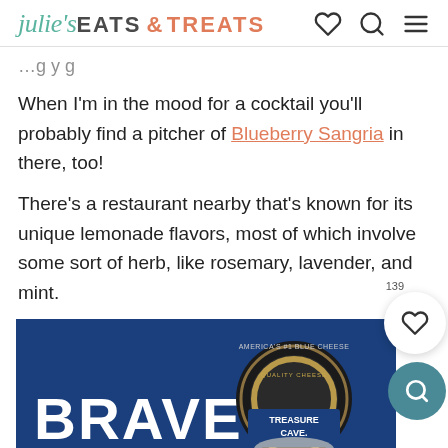julie's EATS & TREATS
When I'm in the mood for a cocktail you'll probably find a pitcher of Blueberry Sangria in there, too!
There's a restaurant nearby that's known for its unique lemonade flavors, most of which involve some sort of herb, like rosemary, lavender, and mint.
[Figure (photo): Advertisement showing a blue background with 'BRAVE' text in white on the left and a Treasure Cave blue cheese container on the right with text 'AMERICA'S #1 BLUE CHEESE' and 'QUALITY CHEESE'.]